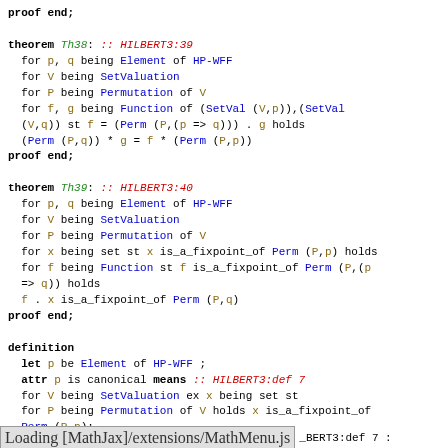proof end;

theorem Th38: :: HILBERT3:39
  for p, q being Element of HP-WFF
  for V being SetValuation
  for P being Permutation of V
  for f, g being Function of (SetVal (V,p)),(SetVal
  (V,q)) st f = (Perm (P,(p => q))) . g holds
  (Perm (P,q)) * g = f * (Perm (P,p))
proof end;

theorem Th39: :: HILBERT3:40
  for p, q being Element of HP-WFF
  for V being SetValuation
  for P being Permutation of V
  for x being set st x is_a_fixpoint_of Perm (P,p) holds
  for f being Function st f is_a_fixpoint_of Perm (P,(p
  => q)) holds
  f . x is_a_fixpoint_of Perm (P,q)
proof end;

definition
  let p be Element of HP-WFF ;
  attr p is canonical means :: HILBERT3:def 7
  for V being SetValuation ex x being set st
  for P being Permutation of V holds x is_a_fixpoint_of
  Perm (P,p);
end;
Loading [MathJax]/extensions/MathMenu.js   _BERT3:def 7 :